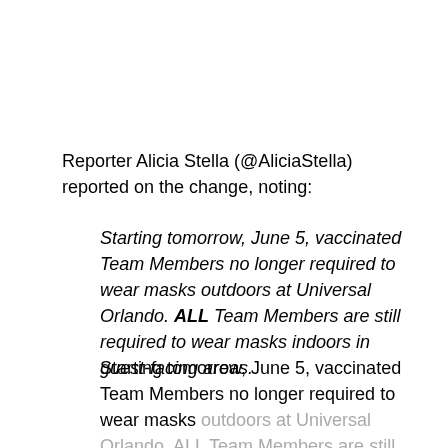Reporter Alicia Stella (@AliciaStella) reported on the change, noting:
Starting tomorrow, June 5, vaccinated Team Members no longer required to wear masks outdoors at Universal Orlando. ALL Team Members are still required to wear masks indoors in guest-facing areas.
Starting tomorrow, June 5, vaccinated Team Members no longer required to wear masks outdoors at Universal Orlando. ALL Team Members are still required to wear masks